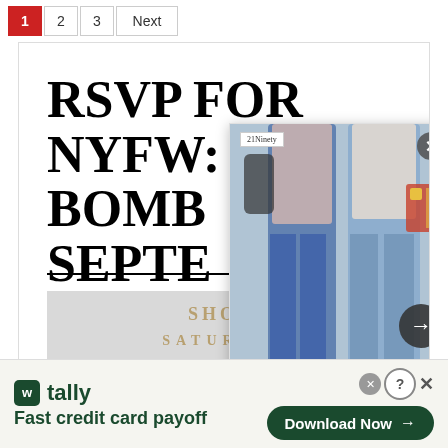1  2  3  Next
RSVP FOR NYFW: THE BOMB... SEPTE...
[Figure (photo): Popup overlay showing two people wearing jeans, walking. Overlay contains close button, navigation arrow, dots, and article title card.]
New Year, New Look: 5 Back-To-School Styles To Consider! - 21Ninety
[Figure (screenshot): Advertisement banner for Tally app - Fast credit card payoff, with Download Now button.]